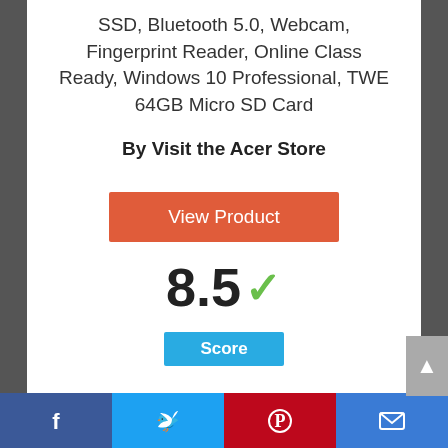SSD, Bluetooth 5.0, Webcam, Fingerprint Reader, Online Class Ready, Windows 10 Professional, TWE 64GB Micro SD Card
By Visit the Acer Store
View Product
8.5 Score
[Figure (infographic): Circle with number 5 inside, outlined in blue gradient]
Facebook | Twitter | Pinterest | Email share bar